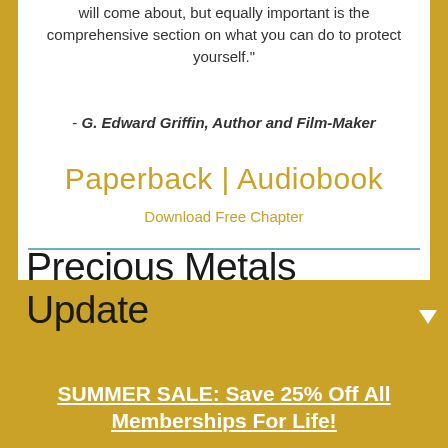will come about, but equally important is the comprehensive section on what you can do to protect yourself."
- G. Edward Griffin, Author and Film-Maker
Paperback | Audiobook
Download Free Chapter
Precious Metals Update
SUMMER SALE: Save 25% Off All Memberships For Life!